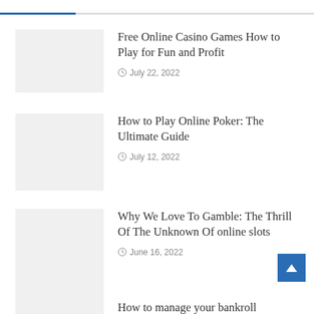Free Online Casino Games How to Play for Fun and Profit — July 22, 2022
How to Play Online Poker: The Ultimate Guide — July 12, 2022
Why We Love To Gamble: The Thrill Of The Unknown Of online slots — June 16, 2022
How to manage your bankroll